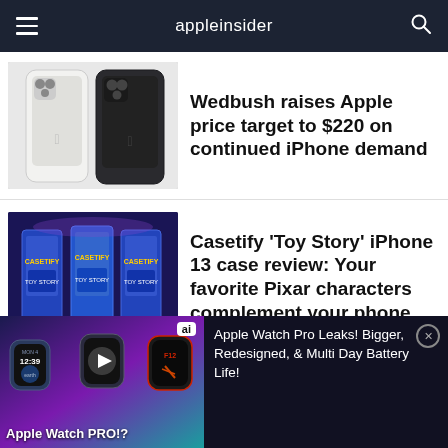appleinsider
[Figure (photo): Two iPhones side by side, one white and one dark/black, showing camera modules]
Wedbush raises Apple price target to $220 on continued iPhone demand
[Figure (photo): Three Casetify Toy Story iPhone cases in blue packaging displayed on a surface]
Casetify 'Toy Story' iPhone 13 case review: Your favorite Pixar characters complement your phone
[Figure (photo): Ad banner showing Apple Watch Pro with three Apple Watch units displayed, branded with 'ai' logo and text 'Apple Watch PRO!?']
Apple Watch Pro Leaks! Bigger, Redesigned, & Multi Day Battery Life!